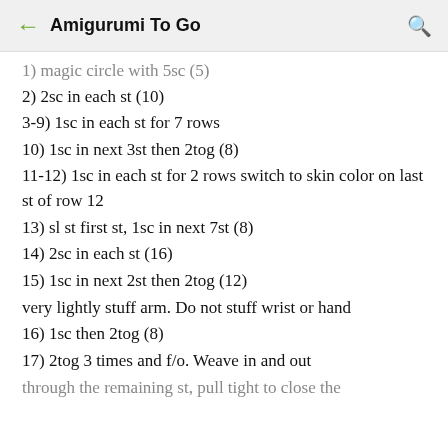← Amigurumi To Go 🔍
1) magic circle with 5sc (5)
2) 2sc in each st (10)
3-9) 1sc in each st for 7 rows
10) 1sc in next 3st then 2tog (8)
11-12) 1sc in each st for 2 rows switch to skin color on last st of row 12
13) sl st first st, 1sc in next 7st (8)
14) 2sc in each st (16)
15) 1sc in next 2st then 2tog (12)
very lightly stuff arm. Do not stuff wrist or hand
16) 1sc then 2tog (8)
17) 2tog 3 times and f/o. Weave in and out
through the remaining st, pull tight to close the